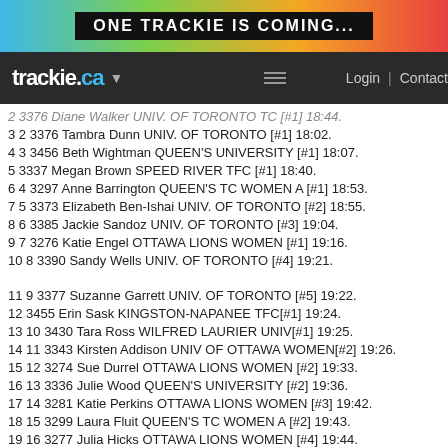[Figure (screenshot): Trackie.ca website banner saying ONE TRACKIE IS COMING... with colorful gradient background]
trackie.ca — Login | Contact
2 3376 Diane Walsh UNIV. OF TORONTO TC [#1] 18:44.
3 2 3376 Tambra Dunn UNIV. OF TORONTO [#1] 18:02.
4 3 3456 Beth Wightman QUEEN'S UNIVERSITY [#1] 18:07.
5 3337 Megan Brown SPEED RIVER TFC [#1] 18:40.
6 4 3297 Anne Barrington QUEEN'S TC WOMEN A [#1] 18:53.
7 5 3373 Elizabeth Ben-Ishai UNIV. OF TORONTO [#2] 18:55.
8 6 3385 Jackie Sandoz UNIV. OF TORONTO [#3] 19:04.
9 7 3276 Katie Engel OTTAWA LIONS WOMEN [#1] 19:16.
10 8 3390 Sandy Wells UNIV. OF TORONTO [#4] 19:21.
11 9 3377 Suzanne Garrett UNIV. OF TORONTO [#5] 19:22.
12 3455 Erin Sask KINGSTON-NAPANEE TFC[#1] 19:24.
13 10 3430 Tara Ross WILFRED LAURIER UNIV[#1] 19:25.
14 11 3343 Kirsten Addison UNIV OF OTTAWA WOMEN[#2] 19:26.
15 12 3274 Sue Durrel OTTAWA LIONS WOMEN [#2] 19:33.
16 13 3336 Julie Wood QUEEN'S UNIVERSITY [#2] 19:36.
17 14 3281 Katie Perkins OTTAWA LIONS WOMEN [#3] 19:42.
18 15 3299 Laura Fluit QUEEN'S TC WOMEN A [#2] 19:43.
19 16 3277 Julia Hicks OTTAWA LIONS WOMEN [#4] 19:44.
20 17 3387 Jacquie Steele UNIV. OF TORONTO [#6] 19:50.
21 18 3326 Caroline Mariano QUEEN'S UNIVERSITY [#3] 20:01.